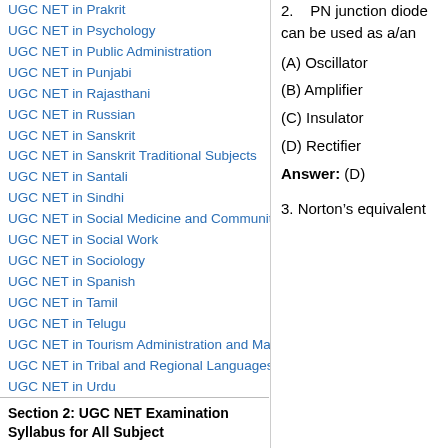UGC NET in Prakrit
UGC NET in Psychology
UGC NET in Public Administration
UGC NET in Punjabi
UGC NET in Rajasthani
UGC NET in Russian
UGC NET in Sanskrit
UGC NET in Sanskrit Traditional Subjects
UGC NET in Santali
UGC NET in Sindhi
UGC NET in Social Medicine and Community Health
UGC NET in Social Work
UGC NET in Sociology
UGC NET in Spanish
UGC NET in Tamil
UGC NET in Telugu
UGC NET in Tourism Administration and Management
UGC NET in Tribal and Regional Languages
UGC NET in Urdu
UGC NET in Visual Art
UGC NET in Women Studies
UGC NET in Yoga
Section 2: UGC NET Examination Syllabus for All Subject
2. PN junction diode can be used as a/an

(A) Oscillator

(B) Amplifier

(C) Insulator

(D) Rectifier

Answer: (D)

3. Norton’s equivalent
(A) Oscillator
(B) Amplifier
(C) Insulator
(D) Rectifier
Answer: (D)
3. Norton’s equivalent